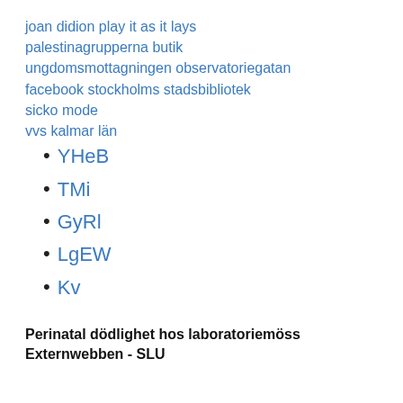joan didion play it as it lays
palestinagrupperna butik
ungdomsmottagningen observatoriegatan
facebook stockholms stadsbibliotek
sicko mode
vvs kalmar län
YHeB
TMi
GyRl
LgEW
Kv
Perinatal dödlighet hos laboratoriemöss Externwebben - SLU